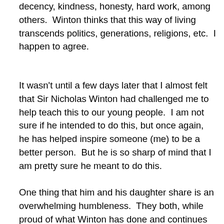decency, kindness, honesty, hard work, among others. Winton thinks that this way of living transcends politics, generations, religions, etc.  I happen to agree.
It wasn't until a few days later that I almost felt that Sir Nicholas Winton had challenged me to help teach this to our young people.  I am not sure if he intended to do this, but once again, he has helped inspire someone (me) to be a better person.  But he is so sharp of mind that I am pretty sure he meant to do this.
One thing that him and his daughter share is an overwhelming humbleness.  They both, while proud of what Winton has done and continues to do, acted like it still wasn't that big of a deal.  In fact, Winton gives most of the credit for the Kindertransport to his colleagues Trevor Chadwick and Doreen Warriner.